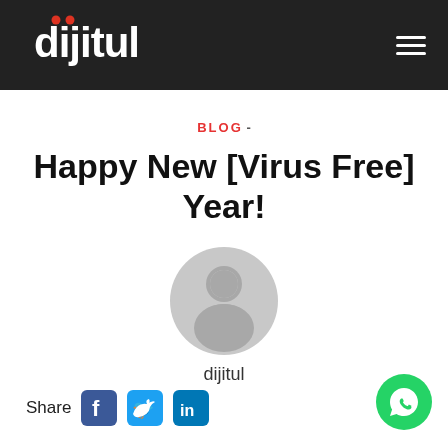dijitul
BLOG -
Happy New [Virus Free] Year!
[Figure (illustration): Generic user avatar icon — grey circle with a person silhouette]
dijitul
Share